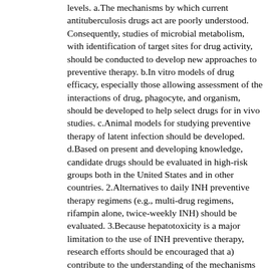levels. a.The mechanisms by which current antituberculosis drugs act are poorly understood. Consequently, studies of microbial metabolism, with identification of target sites for drug activity, should be conducted to develop new approaches to preventive therapy. b.In vitro models of drug efficacy, especially those allowing assessment of the interactions of drug, phagocyte, and organism, should be developed to help select drugs for in vivo studies. c.Animal models for studying preventive therapy of latent infection should be developed. d.Based on present and developing knowledge, candidate drugs should be evaluated in high-risk groups both in the United States and in other countries. 2.Alternatives to daily INH preventive therapy regimens (e.g., multi-drug regimens, rifampin alone, twice-weekly INH) should be evaluated. 3.Because hepatotoxicity is a major limitation to the use of INH preventive therapy, research efforts should be encouraged that a) contribute to the understanding of the mechanisms of INH-hepatitis, b) contribute to the understanding of the mechanism by which INH acts, which will in turn facilitate the development of congeners that retain antimicrobial potency while eliminating sites of hepatotoxic potential, c) investigate the cytoprotective effects of agents that may block or interfere with the toxic effects of INH, and d) identify...